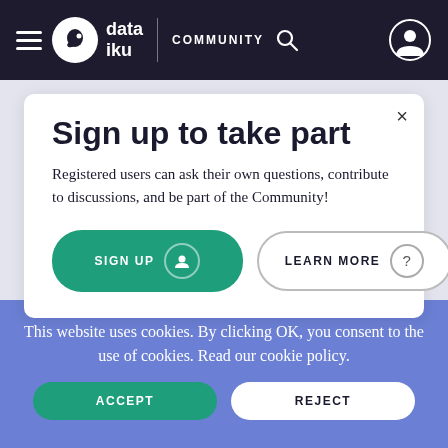dataiku COMMUNITY
Sign up to take part
Registered users can ask their own questions, contribute to discussions, and be part of the Community!
SIGN UP
LEARN MORE
This website uses cookies. By clicking OK, you consent to the use of cookies. Read our cookie policy.
ACCEPT
REJECT